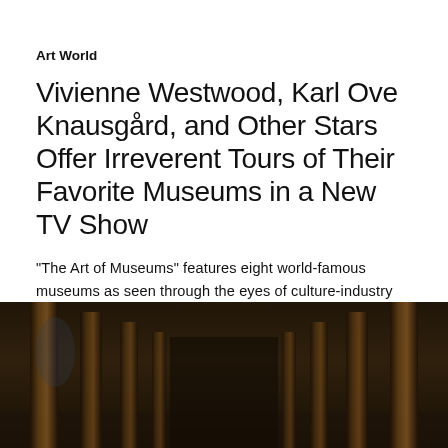Art World
Vivienne Westwood, Karl Ove Knausgård, and Other Stars Offer Irreverent Tours of Their Favorite Museums in a New TV Show
"The Art of Museums" features eight world-famous museums as seen through the eyes of culture-industry heavyweights.
Kate Brown, October 22, 2018
[Figure (photo): Dark interior of a museum or grand hall with tall columns and warm ceiling light]